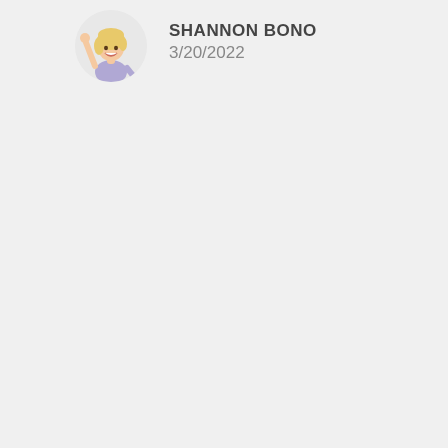[Figure (illustration): Cartoon avatar of a blonde woman in a light purple/blue top with one arm raised, inside a circular frame with light gray background]
SHANNON BONO
3/20/2022